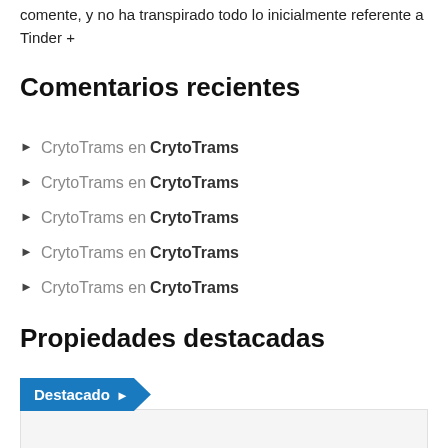comente, y no ha transpirado todo lo inicialmente referente a Tinder +
Comentarios recientes
CrytoTrams en CrytoTrams
CrytoTrams en CrytoTrams
CrytoTrams en CrytoTrams
CrytoTrams en CrytoTrams
CrytoTrams en CrytoTrams
Propiedades destacadas
[Figure (other): Destacado badge with featured property card placeholder below]